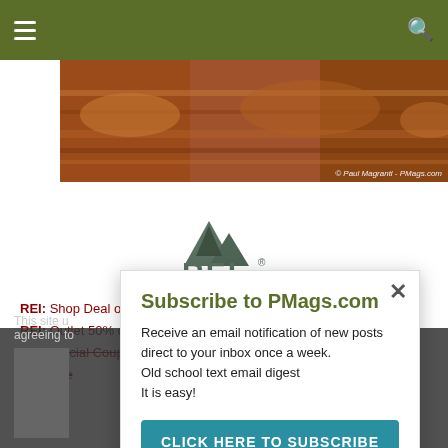[Figure (screenshot): Green navigation bar with hamburger menu and search icon]
[Figure (photo): Hero photo of red rock canyon landscape with photographer credit © Paul Magranti - PMags.com]
[Figure (logo): REI logo with mountain/tree graphic and REI text in gray-green]
REI: Shop Deal of the Day at REI Garage!
REI: Outlet 50% off deals
REI: Official Coupons and Rebates page
REI: Use...
[Figure (screenshot): Subscribe to PMags.com popup modal with close button, description text, and CLICK HERE TO SUBSCRIBE teal button]
This site u... agreeing to...